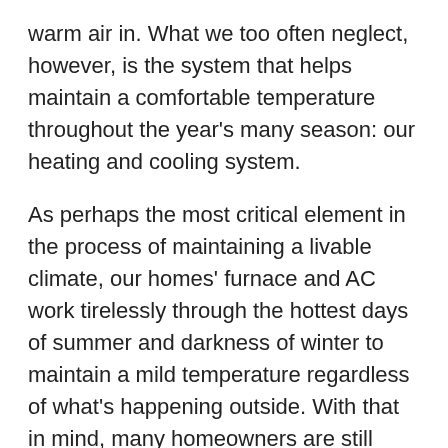warm air in. What we too often neglect, however, is the system that helps maintain a comfortable temperature throughout the year's many season: our heating and cooling system.
As perhaps the most critical element in the process of maintaining a livable climate, our homes' furnace and AC work tirelessly through the hottest days of summer and darkness of winter to maintain a mild temperature regardless of what's happening outside. With that in mind, many homeowners are still surprised to hear how essential it is to perform regular maintenance to keep these systems running at their best.
Your furnace and AC unit may be working